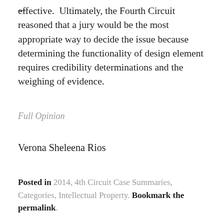effective. Ultimately, the Fourth Circuit reasoned that a jury would be the most appropriate way to decide the issue because determining the functionality of design element requires credibility determinations and the weighing of evidence.
Full Opinion
Verona Sheleena Rios
Posted in 2014, 4th Circuit Case Summaries, Categories, Intellectual Property. Bookmark the permalink.